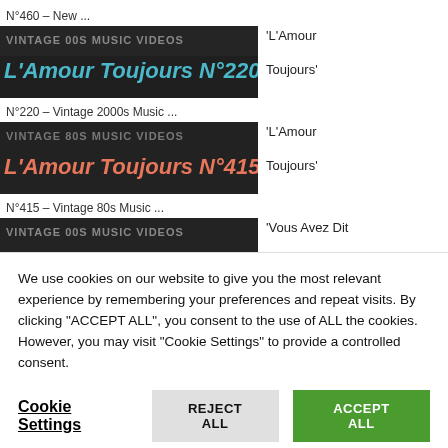N°460 – New ...
[Figure (screenshot): Thumbnail: VINTAGE 00S MUSIC VIDEOS – L'Amour Toujours N°220, blue/teal text on dark background]
'L'Amour Toujours'
N°220 – Vintage 2000s Music ...
[Figure (screenshot): Thumbnail: VINTAGE 80S MUSIC VIDEOS – L'Amour Toujours N°415, pink/salmon text on dark background]
'L'Amour Toujours'
N°415 – Vintage 80s Music ...
[Figure (screenshot): Thumbnail: VINTAGE 00S MUSIC VIDEOS – Nous Avez Dit Bizonne N°450, orange text on dark background]
'Vous Avez Dit
We use cookies on our website to give you the most relevant experience by remembering your preferences and repeat visits. By clicking "ACCEPT ALL", you consent to the use of ALL the cookies. However, you may visit "Cookie Settings" to provide a controlled consent.
Cookie Settings
REJECT ALL
ACCEPT ALL